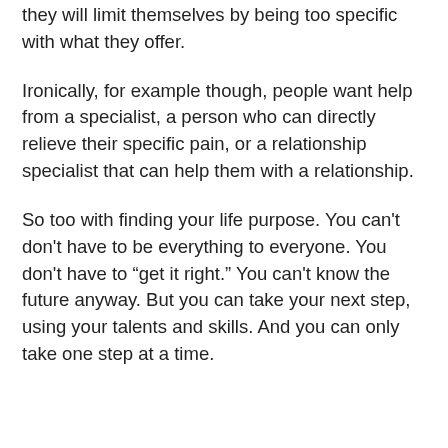they will limit themselves by being too specific with what they offer.
Ironically, for example though, people want help from a specialist, a person who can directly relieve their specific pain, or a relationship specialist that can help them with a relationship.
So too with finding your life purpose. You can't don't have to be everything to everyone. You don't have to “get it right.” You can't know the future anyway. But you can take your next step, using your talents and skills. And you can only take one step at a time.